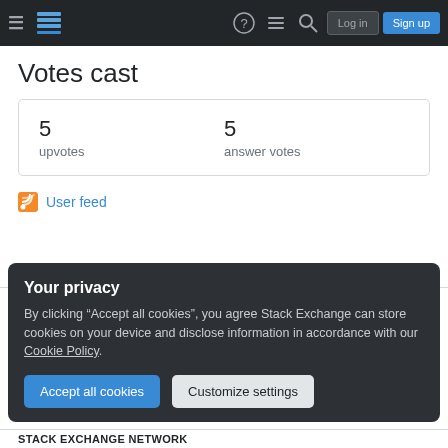Stack Exchange navigation bar with Log in and Sign up buttons
Votes cast
|  |  |
| --- | --- |
| 5
upvotes | 5
answer votes |
User feed
USER EXPERIENCE
Your privacy
By clicking "Accept all cookies", you agree Stack Exchange can store cookies on your device and disclose information in accordance with our Cookie Policy.
Accept all cookies  Customize settings
STACK EXCHANGE NETWORK